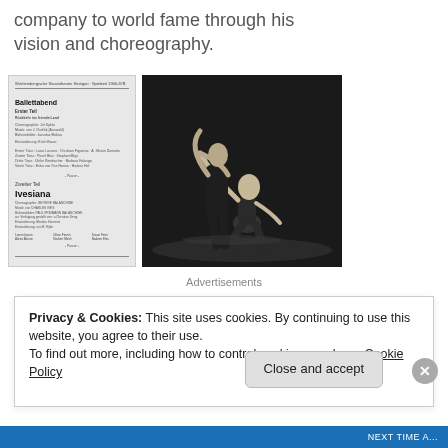company to world fame through his vision and choreography.
[Figure (photo): Scanned ballet program booklet from Württembergische Staatstheater Stuttgart showing 'Ballettabend' with works including 'Rückkehr ins fremde Land' and 'Ivesiana']
[Figure (photo): Black and white photograph of two ballet dancers on stage — one standing and one kneeling, performing a dramatic pose]
Advertisements
Privacy & Cookies: This site uses cookies. By continuing to use this website, you agree to their use.
To find out more, including how to control cookies, see here: Cookie Policy